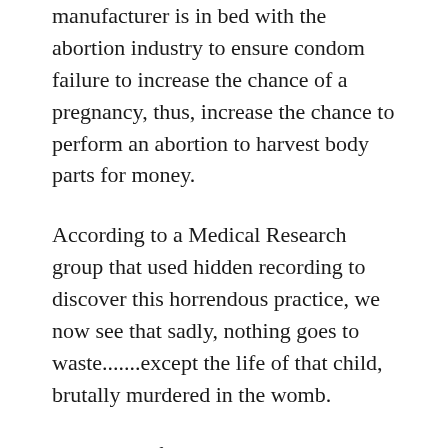manufacturer is in bed with the abortion industry to ensure condom failure to increase the chance of a pregnancy, thus, increase the chance to perform an abortion to harvest body parts for money.
According to a Medical Research group that used hidden recording to discover this horrendous practice, we now see that sadly, nothing goes to waste.......except the life of that child, brutally murdered in the womb.
On another front, STD's is also a lucrative business for the medical field.
In another one of my past blogs, we've discovered that in Puerto Rico, a strain of STD's